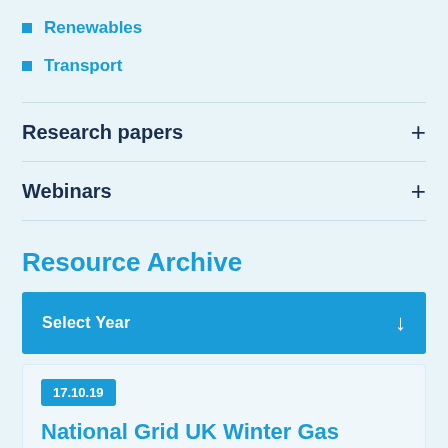Renewables
Transport
Research papers
Webinars
Resource Archive
Select Year
17.10.19
National Grid UK Winter Gas